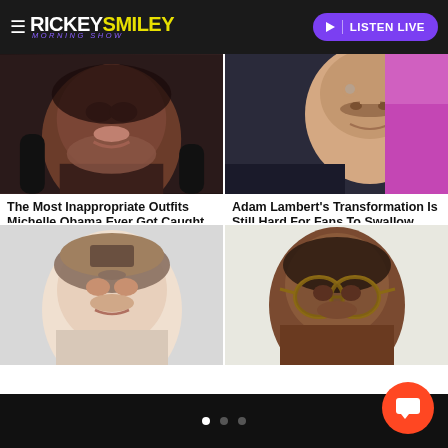RICKEY SMILEY MORNING SHOW — LISTEN LIVE
[Figure (photo): Close-up photo of a Black woman's face (Michelle Obama article thumbnail)]
The Most Inappropriate Outfits Michelle Obama Ever Got Caught In
TheList.com
[Figure (photo): Close-up photo of Adam Lambert's face with facial hair against purple/pink background]
Adam Lambert's Transformation Is Still Hard For Fans To Swallow
TheList.com
[Figure (photo): Close-up photo of a young white male's face against light gray/white background]
[Figure (photo): Close-up photo of a Black woman with round tortoiseshell glasses]
• • •